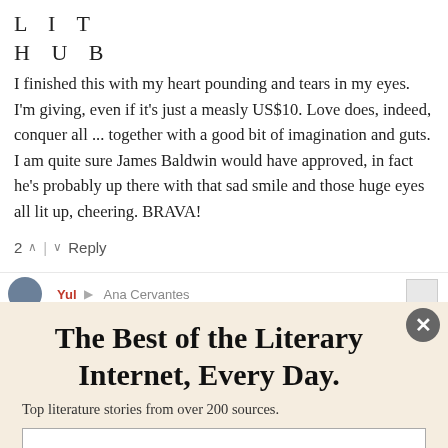LIT HUB
I finished this with my heart pounding and tears in my eyes. I'm giving, even if it's just a measly US$10. Love does, indeed, conquer all ... together with a good bit of imagination and guts. I am quite sure James Baldwin would have approved, in fact he's probably up there with that sad smile and those huge eyes all lit up, cheering. BRAVA!
2 ^ | v Reply
Yul • Ana Cervantes
The Best of the Literary Internet, Every Day.
Top literature stories from over 200 sources.
SUBSCRIBE